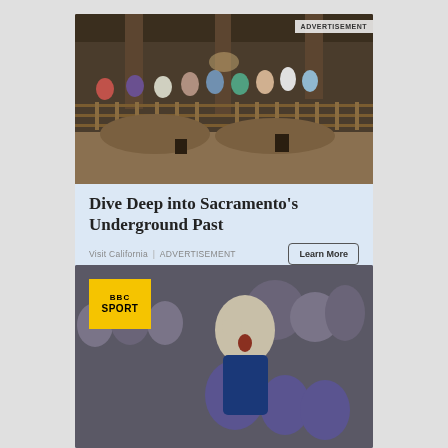[Figure (photo): Advertisement photo showing people viewing an underground historical site in Sacramento, with wooden railings and excavated earthen ground visible. 'ADVERTISEMENT' label in top-right corner.]
Dive Deep into Sacramento's Underground Past
Visit California | ADVERTISEMENT
Learn More
[Figure (photo): BBC Sport branded image showing a footballer in a blue jersey celebrating with fist raised and mouth open, crowd visible in background.]